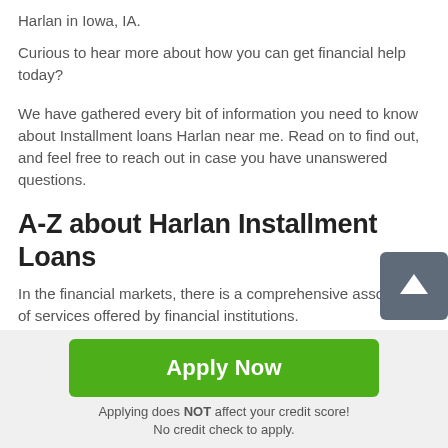Harlan in Iowa, IA.
Curious to hear more about how you can get financial help today?
We have gathered every bit of information you need to know about Installment loans Harlan near me. Read on to find out, and feel free to reach out in case you have unanswered questions.
A-Z about Harlan Installment Loans
In the financial markets, there is a comprehensive assortment of services offered by financial institutions.
Apply Now
Applying does NOT affect your credit score!
No credit check to apply.